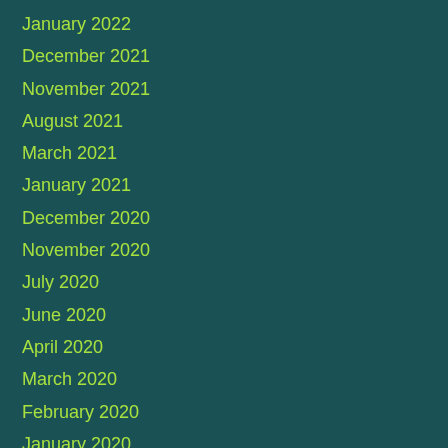January 2022
December 2021
November 2021
August 2021
March 2021
January 2021
December 2020
November 2020
July 2020
June 2020
April 2020
March 2020
February 2020
January 2020
December 2019